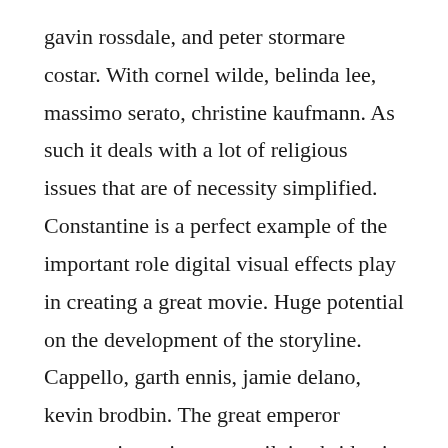gavin rossdale, and peter stormare costar. With cornel wilde, belinda lee, massimo serato, christine kaufmann. As such it deals with a lot of religious issues that are of necessity simplified. Constantine is a perfect example of the important role digital visual effects play in creating a great movie. Huge potential on the development of the storyline. Cappello, garth ennis, jamie delano, kevin brodbin. The great emperor constantines victory at milvian bridge in ad 312 forever changed the path of western civilization as we know it. More important, the theory after the